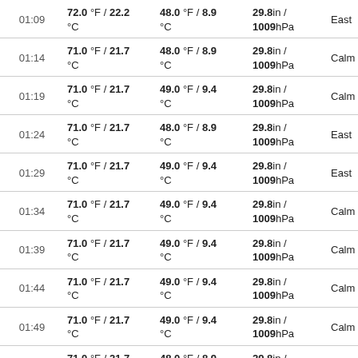| Time | Temp | Dew Point | Pressure | Wind |
| --- | --- | --- | --- | --- |
| 01:09 | 72.0 °F / 22.2 °C | 48.0 °F / 8.9 °C | 29.8in / 1009hPa | East |
| 01:14 | 71.0 °F / 21.7 °C | 48.0 °F / 8.9 °C | 29.8in / 1009hPa | Calm |
| 01:19 | 71.0 °F / 21.7 °C | 49.0 °F / 9.4 °C | 29.8in / 1009hPa | Calm |
| 01:24 | 71.0 °F / 21.7 °C | 48.0 °F / 8.9 °C | 29.8in / 1009hPa | East |
| 01:29 | 71.0 °F / 21.7 °C | 49.0 °F / 9.4 °C | 29.8in / 1009hPa | East |
| 01:34 | 71.0 °F / 21.7 °C | 49.0 °F / 9.4 °C | 29.8in / 1009hPa | Calm |
| 01:39 | 71.0 °F / 21.7 °C | 49.0 °F / 9.4 °C | 29.8in / 1009hPa | Calm |
| 01:44 | 71.0 °F / 21.7 °C | 49.0 °F / 9.4 °C | 29.8in / 1009hPa | Calm |
| 01:49 | 71.0 °F / 21.7 °C | 49.0 °F / 9.4 °C | 29.8in / 1009hPa | Calm |
| 01:54 | 71.0 °F / 21.7 °C | 48.0 °F / 8.9 °C | 29.8in / 1009hPa | Calm |